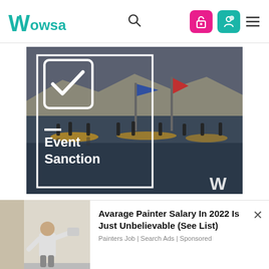[Figure (logo): Wowsa logo with teal W and text]
[Figure (screenshot): Wowsa website screenshot showing Event Sanction image with swimmers on water and overlay box with checkmark, dash, and Event Sanction text in white on dark background, with Wowsa W watermark in bottom right]
[Figure (photo): Advertisement photo showing a painter from behind rolling white paint on a wall]
Avarage Painter Salary In 2022 Is Just Unbelievable (See List)
Painters Job | Search Ads | Sponsored